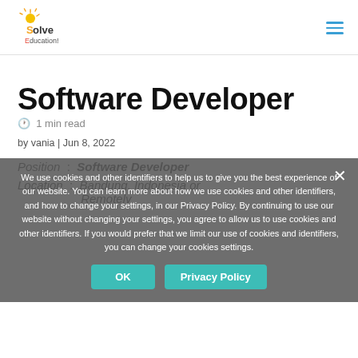[Figure (logo): Solve Education! logo with colorful sun and text]
Software Developer
🕐 1 min read
by vania | Jun 8, 2022
Position : Software Developer
Location : Bandung, Indonesia or Remotely
We use cookies and other identifiers to help us to give you the best experience of our website. You can learn more about how we use cookies and other identifiers, and how to change your settings, in our Privacy Policy. By continuing to use our website without changing your settings, you agree to allow us to use cookies and other identifiers. If you would prefer that we limit our use of cookies and identifiers, you can change your cookies settings.